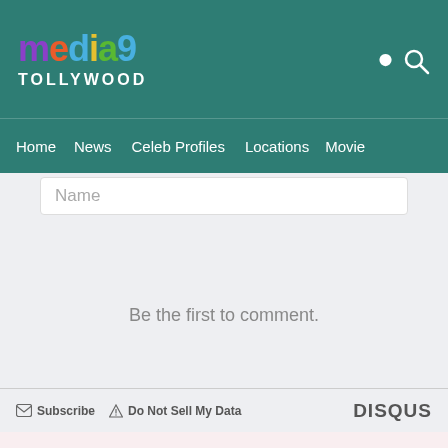media9 TOLLYWOOD
Home  News  Celeb Profiles  Locations  Movie
[Figure (screenshot): Name input text field with placeholder text 'Name' on light gray background]
Be the first to comment.
Subscribe  Do Not Sell My Data  DISQUS